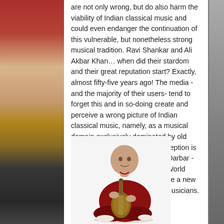are not only wrong, but do also harm the viability of Indian classical music and could even endanger the continuation of this vulnerable, but nonetheless strong musical tradition. Ravi Shankar and Ali Akbar Khan… when did their stardom and their great reputation start? Exactly, almost fifty-five years ago! The media -and the majority of their users- tend to forget this and in so-doing create and perceive a wrong picture of Indian classical music, namely, as a musical domain exclusively dominated by old stars. This widespread misconception is courageously counteracted by Darbar -and for instance by the Sense World Music label- by bringing on stage a new generation of excellent young musicians.
[Figure (photo): A bald musician in red traditional Indian clothing sitting cross-legged and playing a sarod (Indian string instrument) against a white background.]